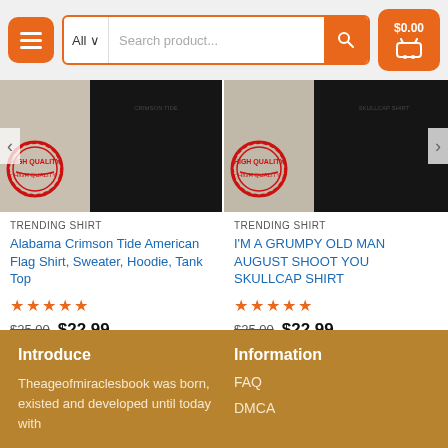Navigation header with menu button, search bar (All, Search product...), and cart ($0.00)
[Figure (photo): Product image for Alabama Crimson Tide American Flag Shirt showing black fabric with high quality stamp on textured background]
[Figure (photo): Product image for I'M A GRUMPY OLD MAN AUGUST SHOOT YOU SKULLCAP SHIRT showing black fabric with high quality stamp on textured background]
TRENDING SHIRT
Alabama Crimson Tide American Flag Shirt, Sweater, Hoodie, Tank Top
★★★★★ $25.00 $22.99
TRENDING SHIRT
I'M A GRUMPY OLD MAN AUGUST SHOOT YOU SKULLCAP SHIRT
★★★★★ $25.00 $22.99
Introduce
Theageofmiraclesbook was born, existed and developed until today with
Information
FAQ
DMCA